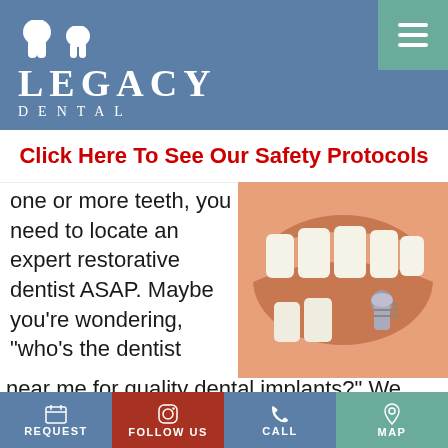[Figure (logo): Legacy Dental logo with two tooth icons above text LEGACY DENTAL on a blue background, with a teal menu button in top right]
Click Here To See Our Safety Protocols
one or more teeth, you need to locate an expert restorative dentist ASAP. Maybe you're wondering, "who's the dentist near me for quality dental implants?" We know the answer: find the excellent care you're looking for from Dr. Jerry Janzen and Dr. Jenna
[Figure (photo): Close-up photo of an open mouth showing a dental implant screw placed where a tooth is missing, surrounded by other natural teeth]
REQUEST   FOLLOW US   CALL   MAP